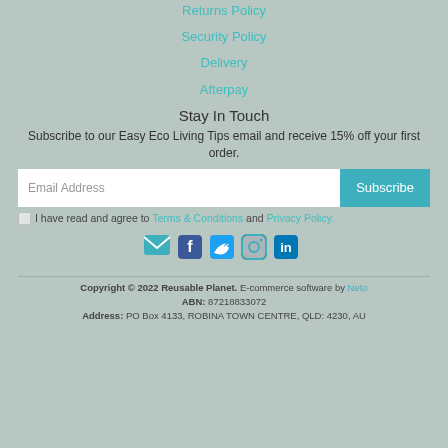Returns Policy
Security Policy
Delivery
Afterpay
Stay In Touch
Subscribe to our Easy Eco Living Tips email and receive 15% off your first order.
Email Address [Subscribe button]
I have read and agree to Terms & Conditions and Privacy Policy.
[Figure (infographic): Social media icons: email, Facebook, Twitter, Instagram, LinkedIn]
Copyright © 2022 Reusable Planet. E-commerce software by Neto ABN: 87218833072 Address: PO Box 4133, ROBINA TOWN CENTRE, QLD: 4230, AU